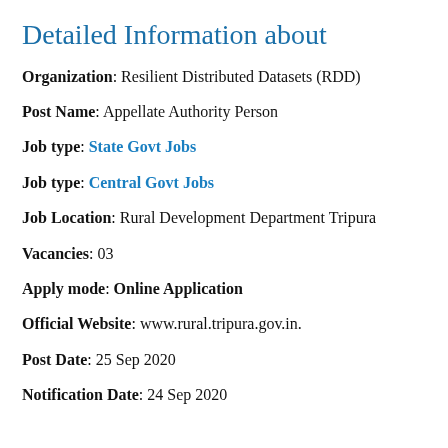Detailed Information about
Organization: Resilient Distributed Datasets (RDD)
Post Name: Appellate Authority Person
Job type: State Govt Jobs
Job type: Central Govt Jobs
Job Location: Rural Development Department Tripura
Vacancies: 03
Apply mode: Online Application
Official Website: www.rural.tripura.gov.in.
Post Date: 25 Sep 2020
Notification Date: 24 Sep 2020